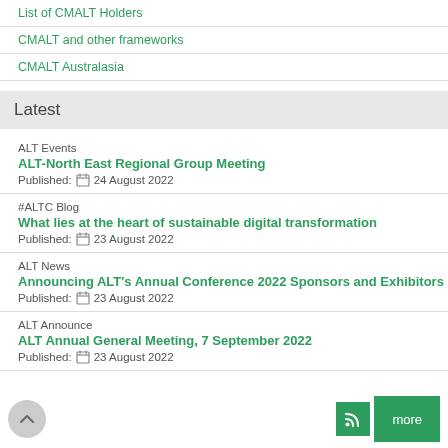List of CMALT Holders
CMALT and other frameworks
CMALT Australasia
Latest
ALT Events
ALT-North East Regional Group Meeting
Published: 24 August 2022
#ALTC Blog
What lies at the heart of sustainable digital transformation
Published: 23 August 2022
ALT News
Announcing ALT's Annual Conference 2022 Sponsors and Exhibitors
Published: 23 August 2022
ALT Announce
ALT Annual General Meeting, 7 September 2022
Published: 23 August 2022